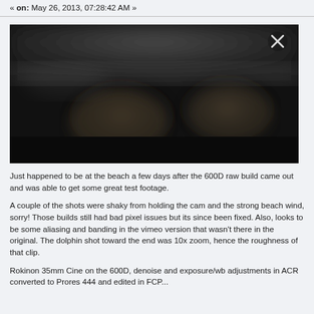« on: May 26, 2013, 07:28:42 AM »
[Figure (photo): Dark, blurry outdoor/beach scene photo with dark sky and indistinct shapes, with an X close button in the top right corner]
Just happened to be at the beach a few days after the 600D raw build came out and was able to get some great test footage.
A couple of the shots were shaky from holding the cam and the strong beach wind, sorry! Those builds still had bad pixel issues but its since been fixed. Also, looks to be some aliasing and banding in the vimeo version that wasn't there in the original. The dolphin shot toward the end was 10x zoom, hence the roughness of that clip.
Rokinon 35mm Cine on the 600D, denoise and exposure/wb adjustments in ACR converted to Prores 444 and edited in FCP...